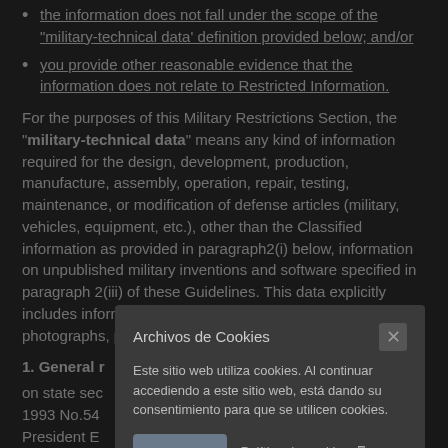the information does not fall under the scope of the "military-technical data' definition provided below; and/or
you provide other reasonable evidence that the information does not relate to Restricted Information.
For the purposes of this Military Restrictions Section, the "military-technical data" means any kind of information required for the design, development, production, manufacture, assembly, operation, repair, testing, maintenance, or modification of defense articles (military, vehicles, equipment, etc.), other than the Classified information as provided in paragraph2(i) below, information on unpublished military inventions and software specified in paragraph 2(iii) of these Guidelines. This data explicitly includes information in the form of blueprints, drawings, photographs, plans, instructions, or documentation
1. General r
on state sec                                                              1, 1993 No.54 President E General Inst (Internation Control Law, Russian Federal law "on state regulation of foreign